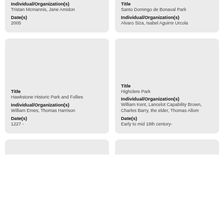Individual/Organization(s)
Tristan Mcmannis, Jane Amidon
Date(s)
2005
Title
Santo Domingo de Bonaval Park
Individual/Organization(s)
Alvaro Siza, Isabel Aguirre Urcola
Title
Hawkstone Historic Park and Follies
Individual/Organization(s)
William Emes, Thomas Harrison
Date(s)
1227 -
Title
Highclere Park
Individual/Organization(s)
William Kent, Lancelot Capability Brown, Charles Barry, the elder, Thomas Allom
Date(s)
Early to mid 18th century-